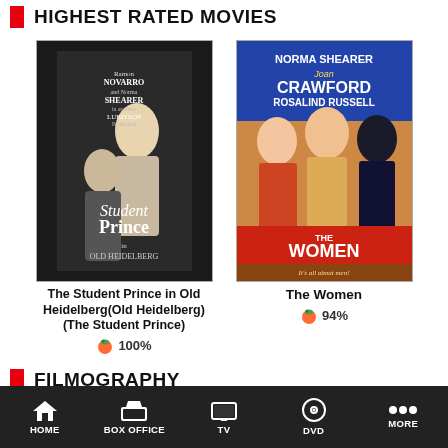HIGHEST RATED MOVIES
[Figure (photo): Movie poster for The Student Prince in Old Heidelberg - black and white poster showing two people]
The Student Prince in Old Heidelberg(Old Heidelberg)(The Student Prince)
🍅 100%
[Figure (photo): Movie poster for The Women featuring Norma Shearer, Joan Crawford, Rosalind Russell]
The Women
🍅 94%
FILMOGRAPHY
MOVIES
| RATING | TITLE | CREDIT | BOX OFFICE | YEAR |
| --- | --- | --- | --- | --- |
HOME   BOX OFFICE   TV   DVD   MORE